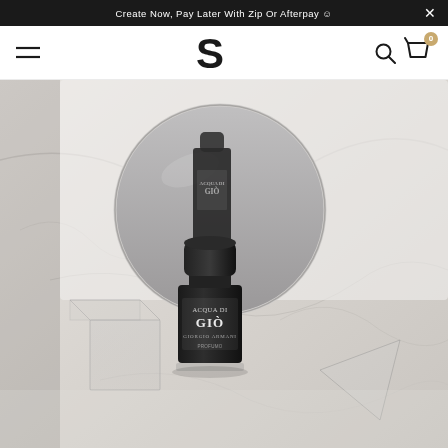Create Now, Pay Later With Zip Or Afterpay 😊
[Figure (logo): S logo — stylized bold S representing a fashion/beauty retailer brand]
[Figure (photo): Product photography of Giorgio Armani Acqua di Gio Profumo perfume bottle in black, placed on a white marble surface with a round mirror reflection in the background, acrylic clear stands around it]